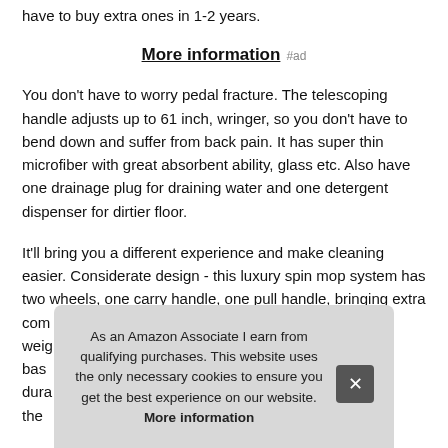have to buy extra ones in 1-2 years.
More information #ad
You don’t have to worry pedal fracture. The telescoping handle adjusts up to 61 inch, wringer, so you don’t have to bend down and suffer from back pain. It has super thin microfiber with great absorbent ability, glass etc. Also have one drainage plug for draining water and one detergent dispenser for dirtier floor.
It’ll bring you a different experience and make cleaning easier. Considerate design - this luxury spin mop system has two wheels, one carry handle, one pull handle, bringing extra com[fort] weig[ht] bas[e] dura[bility] the
As an Amazon Associate I earn from qualifying purchases. This website uses the only necessary cookies to ensure you get the best experience on our website. More information